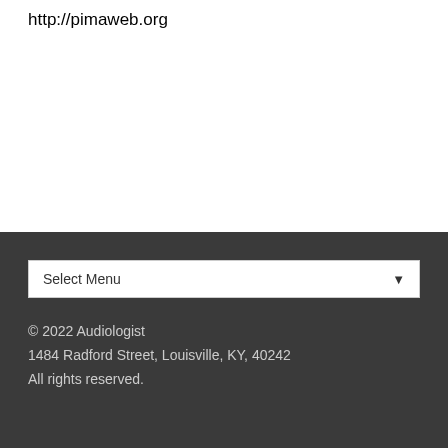http://pimaweb.org
Select Menu
© 2022 Audiologist
1484 Radford Street, Louisville, KY, 40242
All rights reserved.